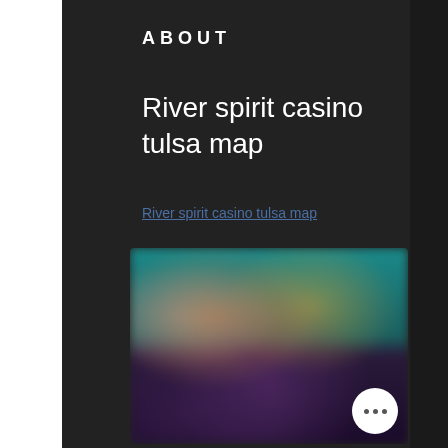ABOUT
River spirit casino tulsa map
River spirit casino tulsa map
[Figure (photo): Blurred casino interior image showing colorful gaming area with slot machines and ambient lighting in teal, purple, and warm tones]